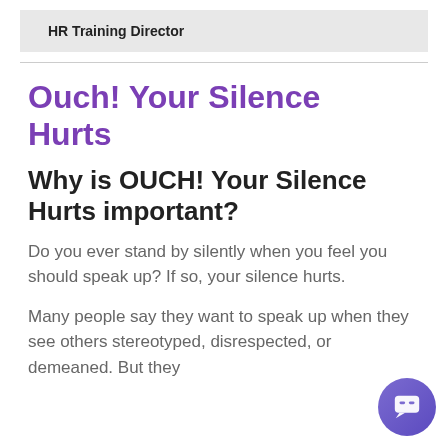HR Training Director
Ouch! Your Silence Hurts
Why is OUCH! Your Silence Hurts important?
Do you ever stand by silently when you feel you should speak up? If so, your silence hurts.
Many people say they want to speak up when they see others stereotyped, disrespected, or demeaned. But they